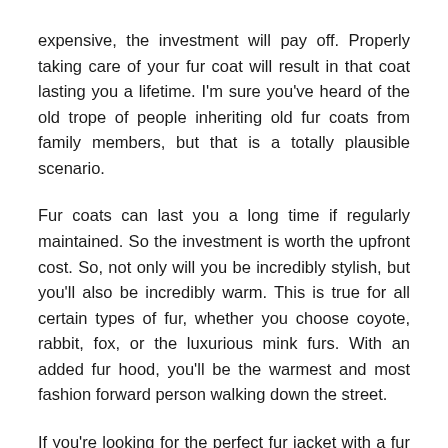expensive, the investment will pay off. Properly taking care of your fur coat will result in that coat lasting you a lifetime. I'm sure you've heard of the old trope of people inheriting old fur coats from family members, but that is a totally plausible scenario.
Fur coats can last you a long time if regularly maintained. So the investment is worth the upfront cost. So, not only will you be incredibly stylish, but you'll also be incredibly warm. This is true for all certain types of fur, whether you choose coyote, rabbit, fox, or the luxurious mink furs. With an added fur hood, you'll be the warmest and most fashion forward person walking down the street.
If you're looking for the perfect fur jacket with a fur hood, then take a look at the inventory from Maximilian. Maximilian is a leading distributor of luxury fur coats. On